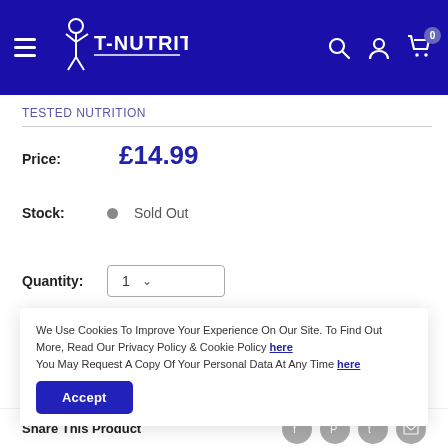T-NUTRITION (website header with logo, hamburger menu, search, account, cart icons)
TESTED NUTRITION
Price: £14.99
Stock: Sold Out
Quantity: 1
We Use Cookies To Improve Your Experience On Our Site. To Find Out More, Read Our Privacy Policy & Cookie Policy here You May Request A Copy Of Your Personal Data At Any Time here
Accept
Share This Product